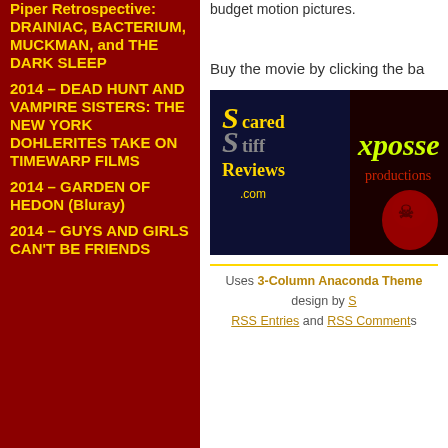Piper Retrospective: DRAINIAC, BACTERIUM, MUCKMAN, and THE DARK SLEEP
2014 – DEAD HUNT AND VAMPIRE SISTERS: THE NEW YORK DOHLERITES TAKE ON TIMEWARP FILMS
2014 – GARDEN OF HEDON (Bluray)
2014 – GUYS AND GIRLS CAN'T BE FRIENDS
budget motion pictures.
Buy the movie by clicking the ba...
[Figure (logo): Scared Stiff Reviews and Xposse Productions banner logos side by side on dark background]
Uses 3-Column Anaconda Theme design by S... RSS Entries and RSS Comments...